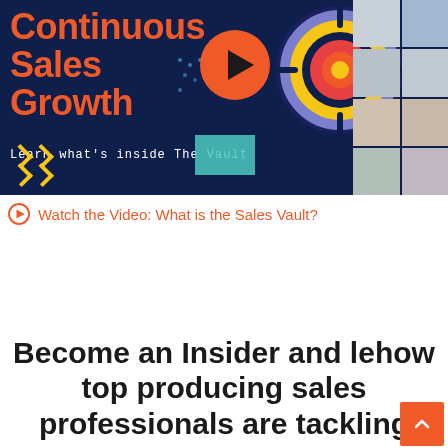[Figure (infographic): Dark navy banner with bold orange text reading 'Continuous Sales Growth', subtitle 'Learn what's inside The Vault', orange play button circle, colorful target/bullseye icon, grid of people photos on right, yellow chevron arrows bottom left, teal accent block, and decorative dots.]
Watch the Video: What is the Sales Vault?
BECOME AN INSIDER
Become an Insider and learn how top producing sales professionals are tackling